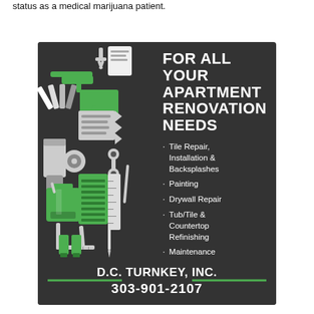status as a medical marijuana patient.
[Figure (illustration): Advertisement for D.C. Turnkey, Inc. featuring tools and renovation equipment icons on a dark background. Headline reads 'FOR ALL YOUR APARTMENT RENOVATION NEEDS' with bullet points listing services: Tile Repair, Installation & Backsplashes; Painting; Drywall Repair; Tub/Tile & Countertop Refinishing; Maintenance. Company name D.C. TURNKEY, INC. and phone 303-901-2107 at bottom.]